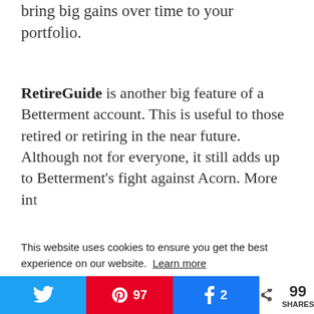bring big gains over time to your portfolio.
RetireGuide is another big feature of a Betterment account. This is useful to those retired or retiring in the near future. Although not for everyone, it still adds up to Betterment’s fight against Acorn. More in…
This website uses cookies to ensure you get the best experience on our website. Learn more
Got it!